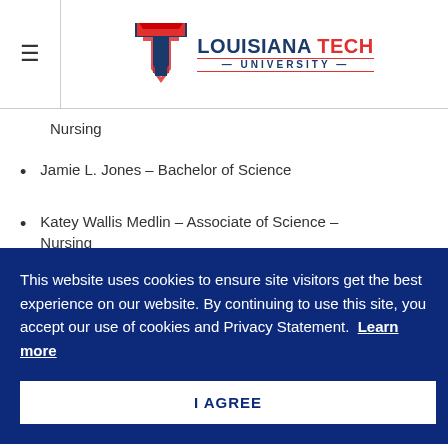Louisiana Tech University
Nursing
Jamie L. Jones – Bachelor of Science
Katey Wallis Medlin – Associate of Science – Nursing
This website uses cookies to ensure site visitors get the best experience on our website. By continuing to use this site, you accept our use of cookies and Privacy Statement.  Learn more
Lance Holden Delrie – Bachelor of Science